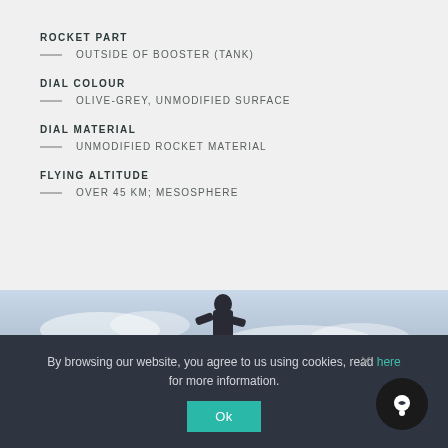ROCKET PART
OUTSIDE OF BOOSTER (TANK)
DIAL COLOUR
OLIVE-GREY, UNMODIFIED SURFACE
DIAL MATERIAL
UNMODIFIED ROCKET MATERIAL
FLYING ALTITUDE
OVER 45 KM; MESOSPHERE
[Figure (photo): Person jumping or running against a sky background with clouds]
By browsing our website, you agree to us using cookies, read here for more information.
Ok